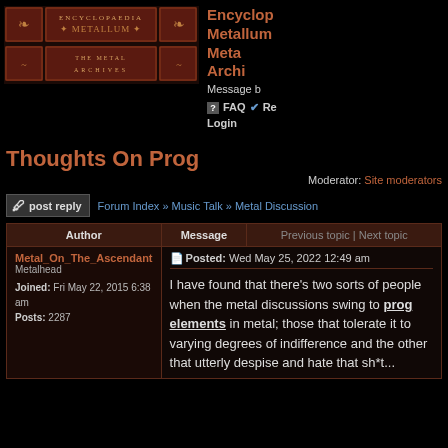[Figure (logo): Encyclopaedia Metallum - The Metal Archives logo banner with ornate dark red book-like panels]
Encyclopaedia Metallum: The Metal Archives - Message board
Thoughts On Prog
Moderator: Site moderators
post reply   Forum Index » Music Talk » Metal Discussion
| Author | Message | Previous topic | Next topic |
| --- | --- | --- |
| Metal_On_The_Ascendant
Metalhead

Joined: Fri May 22, 2015 6:38 am
Posts: 2287 | Posted: Wed May 25, 2022 12:49 am

I have found that there's two sorts of people when the metal discussions swing to prog elements in metal; those that tolerate it to varying degrees of indifference and the other that utterly despise and hate that sh*t... |